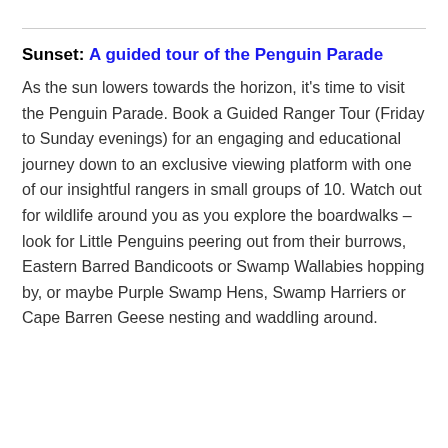Sunset: A guided tour of the Penguin Parade
As the sun lowers towards the horizon, it's time to visit the Penguin Parade. Book a Guided Ranger Tour (Friday to Sunday evenings) for an engaging and educational journey down to an exclusive viewing platform with one of our insightful rangers in small groups of 10. Watch out for wildlife around you as you explore the boardwalks – look for Little Penguins peering out from their burrows, Eastern Barred Bandicoots or Swamp Wallabies hopping by, or maybe Purple Swamp Hens, Swamp Harriers or Cape Barren Geese nesting and waddling around.